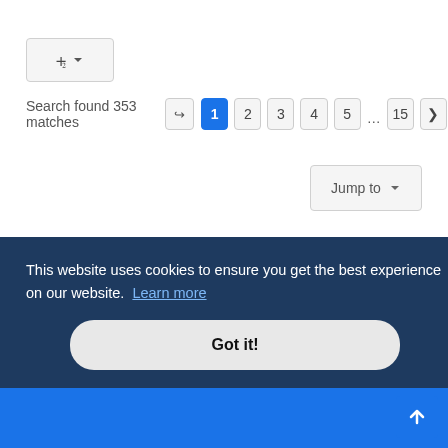[Figure (screenshot): Sort/filter dropdown button with list icon and down arrow]
Search found 353 matches
[Figure (screenshot): Pagination controls: redirect icon, pages 1 (active), 2, 3, 4, 5, ..., 15, next arrow]
[Figure (screenshot): Jump to dropdown button]
[Figure (screenshot): Social media icon circles row (Facebook, Twitter, YouTube, another)]
This website uses cookies to ensure you get the best experience on our website. Learn more
[Figure (screenshot): Got it! button - cookie consent]
C+01:00
[Figure (screenshot): Back to top arrow button]